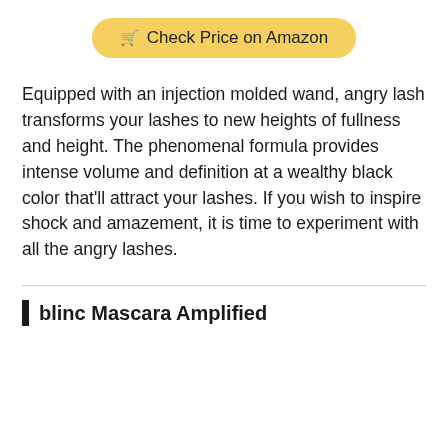[Figure (other): Yellow rounded button with shopping cart icon and text 'Check Price on Amazon']
Equipped with an injection molded wand, angry lash transforms your lashes to new heights of fullness and height. The phenomenal formula provides intense volume and definition at a wealthy black color that'll attract your lashes. If you wish to inspire shock and amazement, it is time to experiment with all the angry lashes.
blinc Mascara Amplified